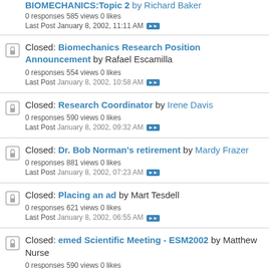BIOMECHANICS:Topic 2 by Richard Baker
0 responses 585 views 0 likes
Last Post January 8, 2002, 11:11 AM
Closed: Biomechanics Research Position Announcement by Rafael Escamilla
0 responses 554 views 0 likes
Last Post January 8, 2002, 10:58 AM
Closed: Research Coordinator by Irene Davis
0 responses 590 views 0 likes
Last Post January 8, 2002, 09:32 AM
Closed: Dr. Bob Norman's retirement by Mardy Frazer
0 responses 881 views 0 likes
Last Post January 8, 2002, 07:23 AM
Closed: Placing an ad by Mart Tesdell
0 responses 621 views 0 likes
Last Post January 8, 2002, 06:55 AM
Closed: emed Scientific Meeting - ESM2002 by Matthew Nurse
0 responses 590 views 0 likes
Last Post January 8, 2002, 06:03 AM